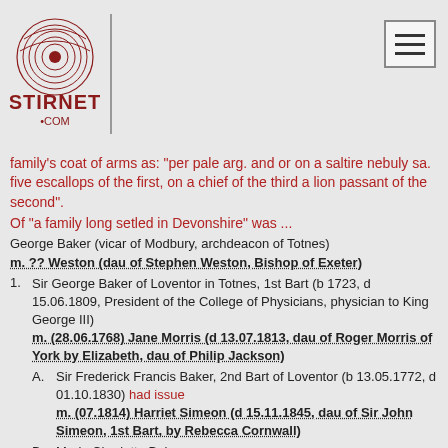Stirnet.com logo and navigation
family's coat of arms as: "per pale arg. and or on a saltire nebuly sa. five escallops of the first, on a chief of the third a lion passant of the second".
Of "a family long setled in Devonshire" was ...
George Baker (vicar of Modbury, archdeacon of Totnes)
m. ?? Weston (dau of Stephen Weston, Bishop of Exeter)
1. Sir George Baker of Loventor in Totnes, 1st Bart (b 1723, d 15.06.1809, President of the College of Physicians, physician to King George III) m. (28.06.1768) Jane Morris (d 13.07.1813, dau of Roger Morris of York by Elizabeth, dau of Philip Jackson)
A. Sir Frederick Francis Baker, 2nd Bart of Loventor (b 13.05.1772, d 01.10.1830) had issue m. (07.1814) Harriet Simeon (d 15.11.1845, dau of Sir John Simeon, 1st Bart, by Rebecca Cornwall)
B. Maria Charlotte Baker m. (01.05.1821) Sir John Hutton Cooper, Bart (dsp 24.12.1828, Lt. Colonel) @1@ below